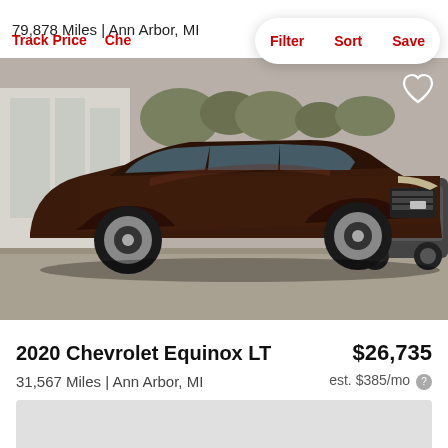79,878 Miles | Ann Arbor, MI
Track Price  Che...
Filter  Sort  Save
[Figure (photo): 2020 Chevrolet Equinox LT in dark brown/maroon color, parked in a dealer lot, front three-quarter view. Another SUV visible in background on right.]
2020 Chevrolet Equinox LT
$26,735
31,567 Miles | Ann Arbor, MI
est. $385/mo